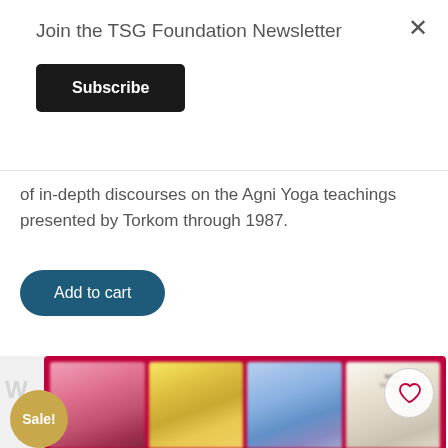Join the TSG Foundation Newsletter
Subscribe
of in-depth discourses on the Agni Yoga teachings presented by Torkom through 1987.
Add to cart
[Figure (photo): Four book cards with colorful floral covers (pink rose, yellow angelic figure, blue floral, white rose) displayed in a red/crimson frame strip. A gold 'Sale!' badge is visible on the lower left and a heart wishlist icon on the upper right.]